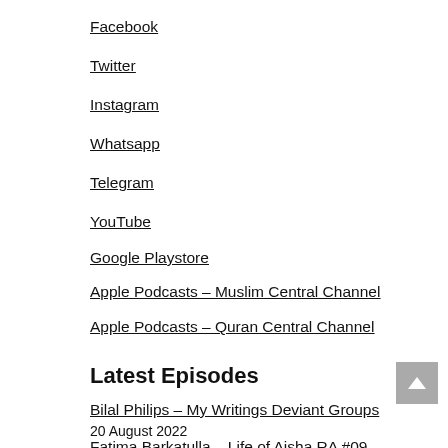Facebook
Twitter
Instagram
Whatsapp
Telegram
YouTube
Google Playstore
Apple Podcasts – Muslim Central Channel
Apple Podcasts – Quran Central Channel
Latest Episodes
Bilal Philips – My Writings Deviant Groups
20 August 2022
Fatima Barkatulla – Life of Aisha RA #09 –